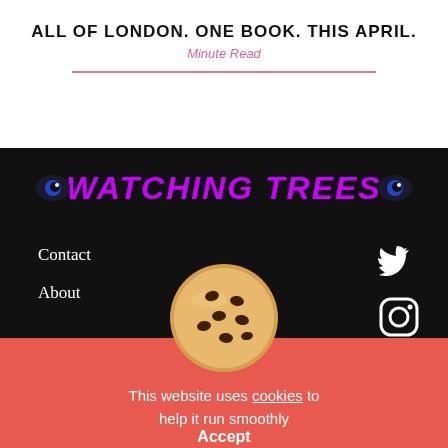ALL OF LONDON. ONE BOOK. THIS APRIL.
Minute Read
[Figure (illustration): Black banner with magenta/purple italic bold text 'WATCHING TREES' and eye icons on each side]
Contact
About
[Figure (illustration): Twitter bird icon in white on black background]
[Figure (illustration): Instagram icon outline in white on black background]
[Figure (photo): Cookie emoji / chocolate chip cookie illustration]
This website uses cookies to help it run smoothly
Accept